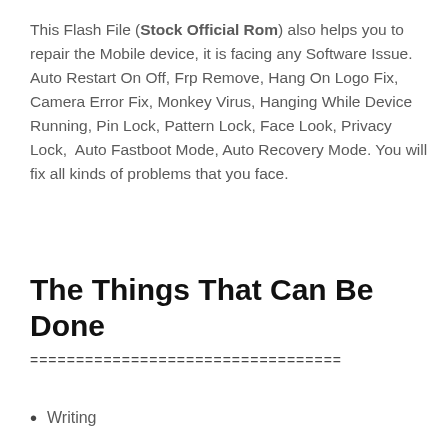This Flash File (Stock Official Rom) also helps you to repair the Mobile device, it is facing any Software Issue. Auto Restart On Off, Frp Remove, Hang On Logo Fix, Camera Error Fix, Monkey Virus, Hanging While Device Running, Pin Lock, Pattern Lock, Face Look, Privacy Lock,  Auto Fastboot Mode, Auto Recovery Mode. You will fix all kinds of problems that you face.
The Things That Can Be Done
==================================
Writing